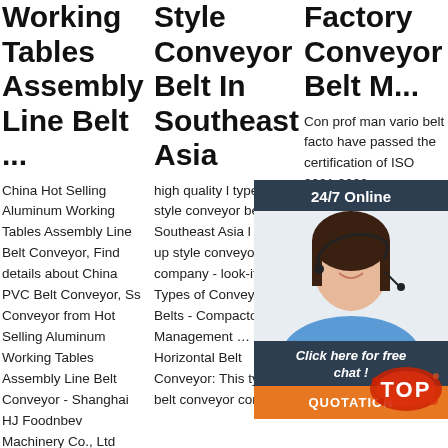Working Tables Assembly Line Belt ...
China Hot Selling Aluminum Working Tables Assembly Line Belt Conveyor, Find details about China PVC Belt Conveyor, Ss Conveyor from Hot Selling Aluminum Working Tables Assembly Line Belt Conveyor - Shanghai HJ Foodnbev Machinery Co., Ltd
Style Conveyor Belt In Southeast Asia
high quality l type up style conveyor belt in Southeast Asia l type up style conveyor belt company - look-it.fr. Types of Conveyor Belts - Compactor Management … Horizontal Belt Conveyor: This type of belt conveyor consists
Factory Conveyor Belt M...
Con prof man vario belt facto have passed the certification of ISO 9001:2000 management system, And have been
[Figure (other): 24/7 Online chat widget with female customer service agent wearing headset, dark background with 'Click here for free chat!' text and orange QUOTATION button]
[Figure (other): Red and orange TOP badge/icon in bottom right area]